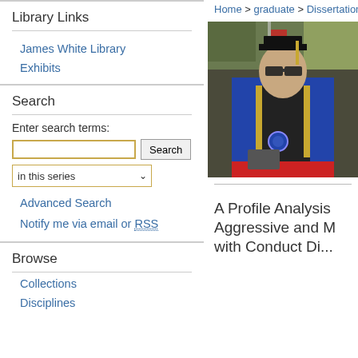Home > graduate > Dissertations
Library Links
James White Library
Exhibits
Search
Enter search terms:
in this series
Advanced Search
Notify me via email or RSS
Browse
Collections
Disciplines
[Figure (photo): Graduation photo showing a person in academic regalia (blue doctoral gown and cap with gold tassel) holding something, outdoors with flags and greenery in the background.]
A Profile Analysis... Aggressive and M... with Conduct Di...